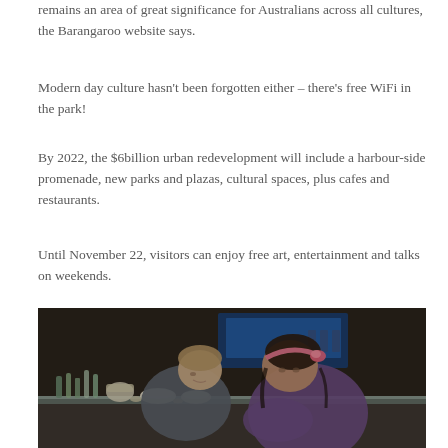remains an area of great significance for Australians across all cultures, the Barangaroo website says.
Modern day culture hasn't been forgotten either – there's free WiFi in the park!
By 2022, the $6billion urban redevelopment will include a harbour-side promenade, new parks and plazas, cultural spaces, plus cafes and restaurants.
Until November 22, visitors can enjoy free art, entertainment and talks on weekends.
[Figure (photo): Two children leaning over a glass display case in a museum, examining artifacts including bottles, bowls, and ceramic items. A blue illuminated display unit is visible in the background.]